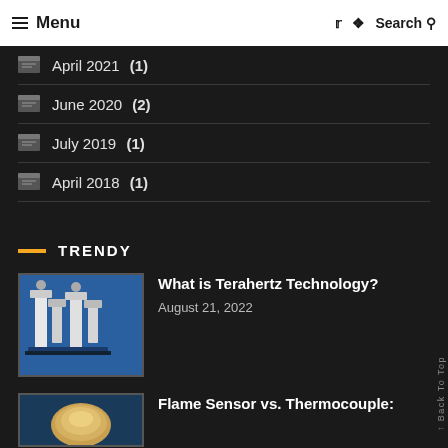Menu | Twitter Pinterest Search
April 2021 (1)
June 2020 (2)
July 2019 (1)
April 2018 (1)
TRENDY
[Figure (photo): Terahertz technology equipment on blue background]
What is Terahertz Technology?
August 21, 2022
[Figure (photo): Flame sensor or thermocouple image]
Flame Sensor vs. Thermocouple: